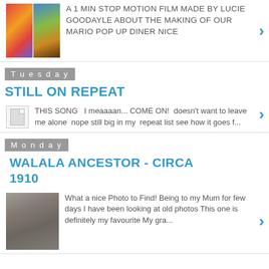A 1 MIN STOP MOTION FILM MADE BY LUCIE GOODAYLE ABOUT THE MAKING OF OUR MARIO POP UP DINER NICE
Tuesday
STILL ON REPEAT
THIS SONG  I meaaaan... COME ON!  doesn't want to leave me alone  nope still big in my  repeat list see how it goes f...
Monday
WALALA ANCESTOR - CIRCA 1910
What a nice Photo to Find! Being to my Mum for few days I have been looking at old photos This one is definitely my favourite My gra...